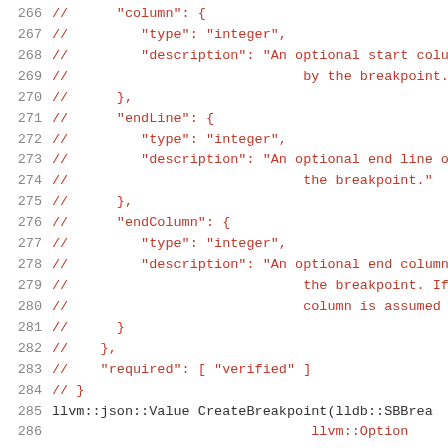Code listing lines 266–286 showing JSON schema comments and C++ function declaration in a source file.